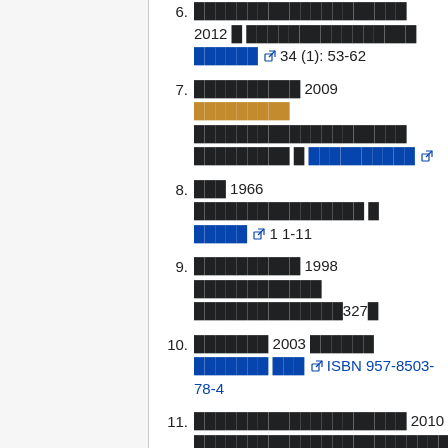6. ████████████████████ 2012 █ ████████████████ ██████ [ext] 34 (1): 53-62
7. ██████████ 2009 █████████ ████████████████████ █████████ █ ██████████ [ext]
8. ███ 1966 ██████████████████ █ █████ [ext] 1 1-11
9. ██████████ 1998 █████████████ ██████████████327█
10. ███████ 2003 ██████ ████████ ███ [ext] ISBN 957-8503-78-4
11. ████████████████████ 2010 █ █████████████████████████████ █ █████ [ext] 32 (3):89-102,